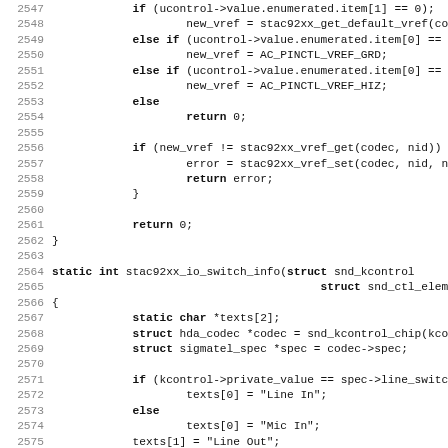Source code listing, lines 2547-2579, C programming language, showing stac92xx vref control and stac92xx_io_switch_info function implementation.